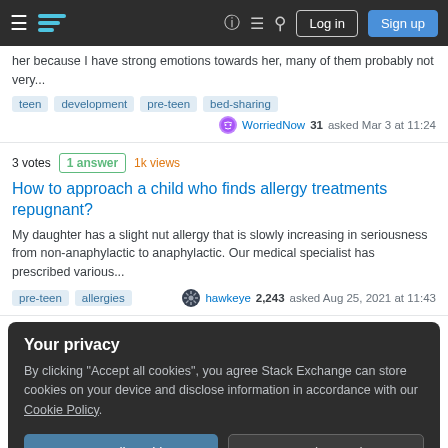Stack Exchange navigation bar with hamburger menu, logo, help, chat, search, Log in, Sign up buttons
her because I have strong emotions towards her, many of them probably not very...
teen  development  pre-teen  bed-sharing
WorriedNow 31 asked Mar 3 at 11:24
3 votes  1 answer  1k views
How to approach a child who finds allergy treatments repugnant?
My daughter has a slight nut allergy that is slowly increasing in seriousness from non-anaphylactic to anaphylactic. Our medical specialist has prescribed various...
pre-teen  allergies
hawkeye 2,243 asked Aug 25, 2021 at 11:43
Your privacy
By clicking "Accept all cookies", you agree Stack Exchange can store cookies on your device and disclose information in accordance with our Cookie Policy.
Accept all cookies
Customize settings